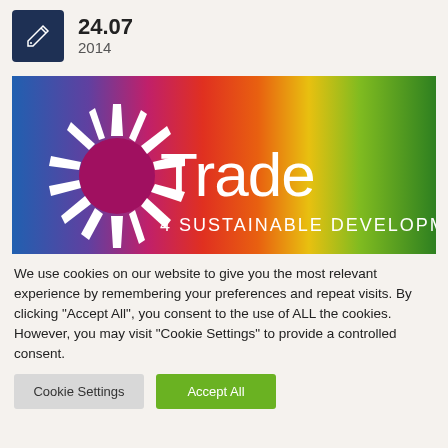24.07 2014
[Figure (logo): Trade 4 Sustainable Development logo — colorful gradient background (blue, pink, red, orange, yellow, green) with a white UN-style circular sunburst emblem on the left and bold white text 'Trade 4 Sustainable Development']
We use cookies on our website to give you the most relevant experience by remembering your preferences and repeat visits. By clicking "Accept All", you consent to the use of ALL the cookies. However, you may visit "Cookie Settings" to provide a controlled consent.
Cookie Settings | Accept All